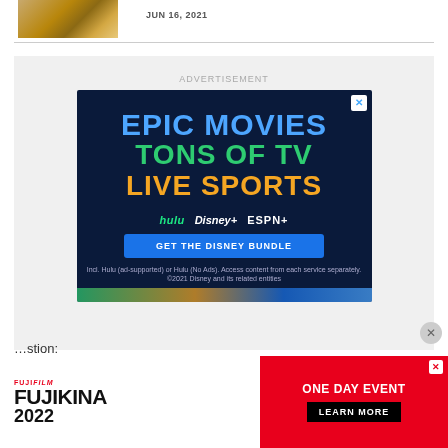[Figure (photo): Partial image of books or objects on a table, cropped at top]
JUN 16, 2021
[Figure (screenshot): Disney Bundle advertisement: EPIC MOVIES, TONS OF TV, LIVE SPORTS - with Hulu, Disney+, ESPN+ logos and GET THE DISNEY BUNDLE button]
ADVERTISEMENT
[Figure (screenshot): Fujifilm Fujikina 2022 ONE DAY EVENT LEARN MORE advertisement banner]